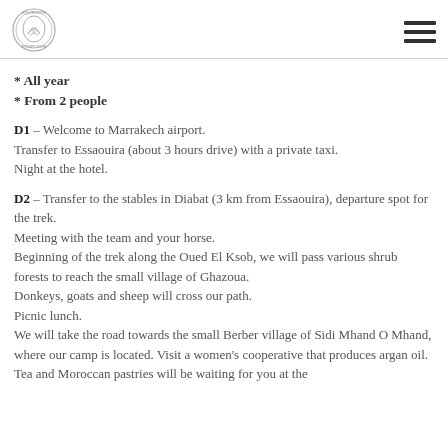Equirydon logo and navigation
* All year
* From 2 people
D1 – Welcome to Marrakech airport. Transfer to Essaouira (about 3 hours drive) with a private taxi. Night at the hotel.
D2 – Transfer to the stables in Diabat (3 km from Essaouira), departure spot for the trek. Meeting with the team and your horse. Beginning of the trek along the Oued El Ksob, we will pass various shrub forests to reach the small village of Ghazoua. Donkeys, goats and sheep will cross our path. Picnic lunch. We will take the road towards the small Berber village of Sidi Mhand O Mhand, where our camp is located. Visit a women's cooperative that produces argan oil. Tea and Moroccan pastries will be waiting for you at the